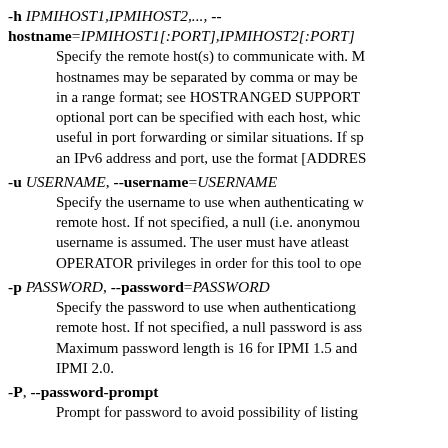-h IPMIHOST1,IPMIHOST2,..., --hostname=IPMIHOST1[:PORT],IPMIHOST2[:PORT]
        Specify the remote host(s) to communicate with. Multiple hostnames may be separated by comma or may be in a range format; see HOSTRANGED SUPPORT optional port can be specified with each host, which useful in port forwarding or similar situations. If sp an IPv6 address and port, use the format [ADDRES
-u USERNAME, --username=USERNAME
        Specify the username to use when authenticating with remote host. If not specified, a null (i.e. anonymous) username is assumed. The user must have atleast OPERATOR privileges in order for this tool to operate.
-p PASSWORD, --password=PASSWORD
        Specify the password to use when authenticationg with remote host. If not specified, a null password is assumed. Maximum password length is 16 for IPMI 1.5 and IPMI 2.0.
-P, --password-prompt
        Prompt for password to avoid possibility of listing